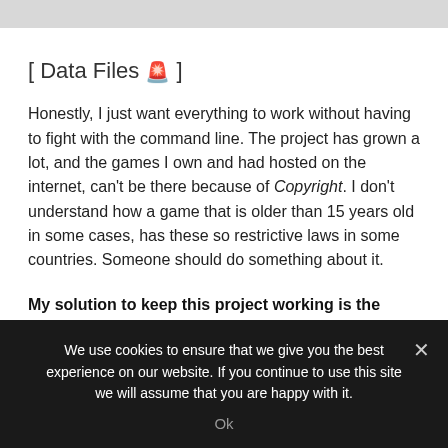[ Data Files 🚨 ]
Honestly, I just want everything to work without having to fight with the command line. The project has grown a lot, and the games I own and had hosted on the internet, can't be there because of Copyright. I don't understand how a game that is older than 15 years old in some cases, has these so restrictive laws in some countries. Someone should do something about it.
My solution to keep this project working is the
We use cookies to ensure that we give you the best experience on our website. If you continue to use this site we will assume that you are happy with it.
Ok